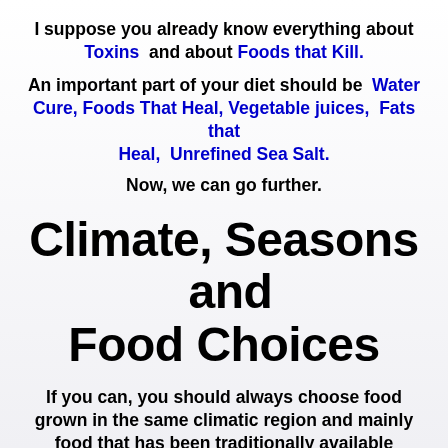I suppose you already know everything about Toxins  and about Foods that Kill.
An important part of your diet should be  Water Cure, Foods That Heal, Vegetable juices,  Fats that Heal,  Unrefined Sea Salt.
Now, we can go further.
Climate, Seasons  and Food Choices
If you can, you should always choose food grown in the same climatic region and mainly food that has been traditionally available